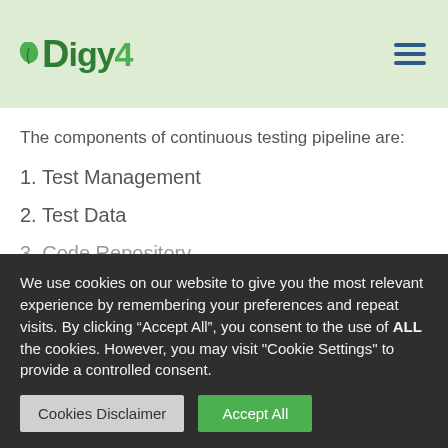Digy4
The components of continuous testing pipeline are:
1. Test Management
2. Test Data
3. Code Repository
We use cookies on our website to give you the most relevant experience by remembering your preferences and repeat visits. By clicking “Accept All”, you consent to the use of ALL the cookies. However, you may visit "Cookie Settings" to provide a controlled consent.